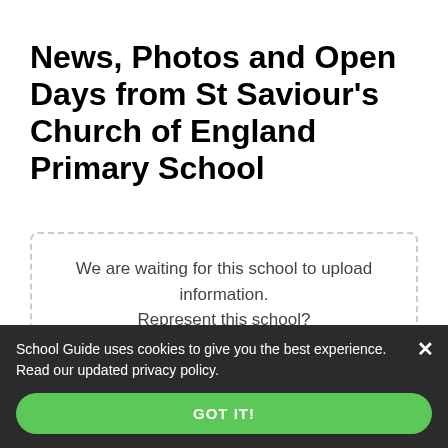News, Photos and Open Days from St Saviour's Church of England Primary School
We are waiting for this school to upload information. Represent this school? Register your details to add open days, photos and news.
[Figure (screenshot): Two thumbnail images in a beige strip at the bottom of a dashed-border card. Left thumbnail is blue, right thumbnail is dark/grey.]
School Guide uses cookies to give you the best experience. Read our updated privacy policy.
GOT IT!